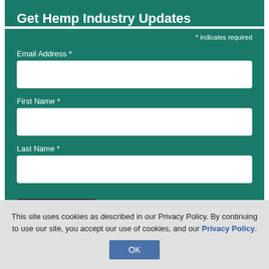Get Hemp Industry Updates
* indicates required
Email Address *
First Name *
Last Name *
Subscribe
< Previous post
Next post >
This site uses cookies as described in our Privacy Policy. By continuing to use our site, you accept our use of cookies, and our Privacy Policy.
OK